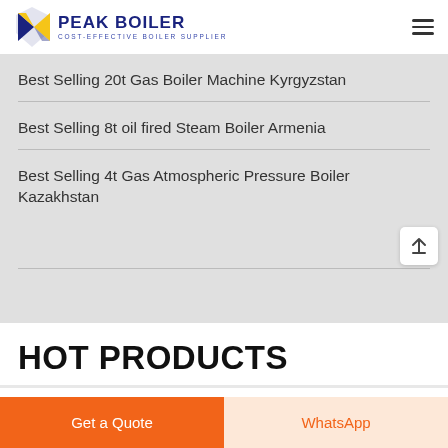[Figure (logo): Peak Boiler logo with yellow and blue flame/shield icon, text 'PEAK BOILER' in dark blue bold, tagline 'COST-EFFECTIVE BOILER SUPPLIER' in blue]
Best Selling 20t Gas Boiler Machine Kyrgyzstan
Best Selling 8t oil fired Steam Boiler Armenia
Best Selling 4t Gas Atmospheric Pressure Boiler Kazakhstan
HOT PRODUCTS
Get a Quote
WhatsApp